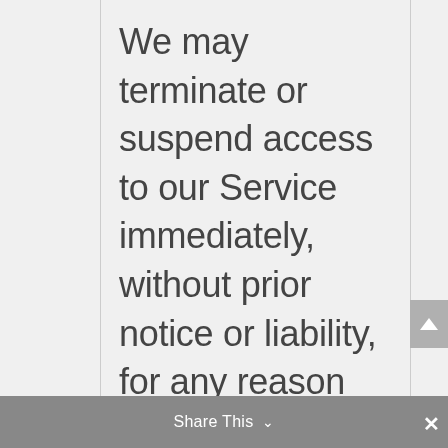We may terminate or suspend access to our Service immediately, without prior notice or liability, for any reason whatsoever, including without limitation if you breach the Terms.
All provisions of the Terms which by their nature should survive termination shall